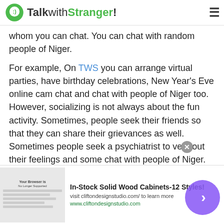TalkwithStranger!
whom you can chat. You can chat with random people of Niger.
For example, On TWS you can arrange virtual parties, have birthday celebrations, New Year's Eve online cam chat and chat with people of Niger too. However, socializing is not always about the fun activity. Sometimes, people seek their friends so that they can share their grievances as well. Sometimes people seek a psychiatrist to vent out their feelings and some chat with people of Niger. However, not everyone can hire a psychiatrist. And
[Figure (screenshot): Advertisement banner for In-Stock Solid Wood Cabinets-12 Styles from cliftondesignstudio.com]